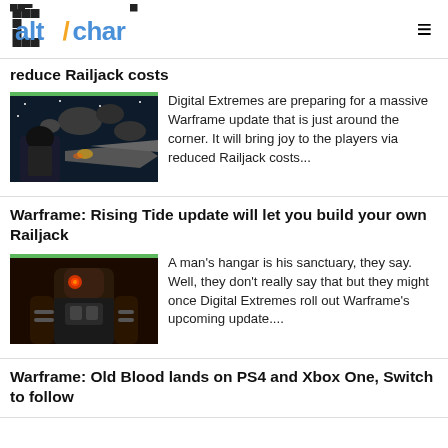altchar [logo] [hamburger menu]
reduce Railjack costs
[Figure (photo): Screenshot from Warframe showing a space battle scene with a character and spacecraft]
Digital Extremes are preparing for a massive Warframe update that is just around the corner. It will bring joy to the players via reduced Railjack costs...
Warframe: Rising Tide update will let you build your own Railjack
[Figure (photo): Screenshot from Warframe showing a robotic/armored character with mechanical details]
A man's hangar is his sanctuary, they say. Well, they don't really say that but they might once Digital Extremes roll out Warframe's upcoming update....
Warframe: Old Blood lands on PS4 and Xbox One, Switch to follow